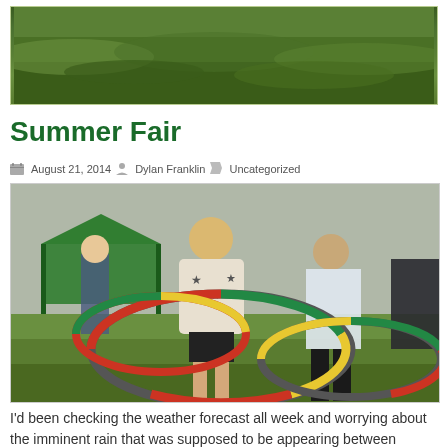[Figure (photo): Top banner photo of green grass/outdoor field scene]
Summer Fair
August 21, 2014  Dylan Franklin  Uncategorized
[Figure (photo): Photo of children and people playing with colorful hula hoops at an outdoor summer fair on grass, with a green tent in the background]
I'd been checking the weather forecast all week and worrying about the imminent rain that was supposed to be appearing between 10am-4pm on Sunday 6th